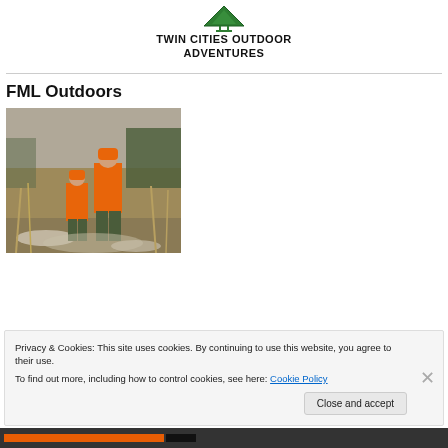[Figure (logo): Twin Cities Outdoor Adventures logo with green triangle/tree icon and bold text below]
FML Outdoors
[Figure (photo): Two hunters wearing orange safety vests/jackets walking through a field with dry grass and light snow; one adult and one child, viewed from behind]
Privacy & Cookies: This site uses cookies. By continuing to use this website, you agree to their use.
To find out more, including how to control cookies, see here: Cookie Policy
Close and accept